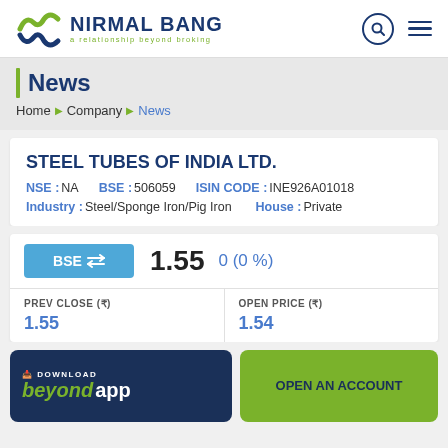[Figure (logo): Nirmal Bang logo with stylized wave mark and tagline 'a relationship beyond broking']
News
Home ▶ Company ▶ News
STEEL TUBES OF INDIA LTD.
NSE : NA   BSE : 506059   ISIN CODE : INE926A01018
Industry : Steel/Sponge Iron/Pig Iron   House : Private
BSE ⇌  1.55   0 (0 %)
| PREV CLOSE (₹) | OPEN PRICE (₹) |
| --- | --- |
| 1.55 | 1.54 |
[Figure (screenshot): Download beyond app button (dark navy background)]
[Figure (screenshot): Open an Account button (green background)]